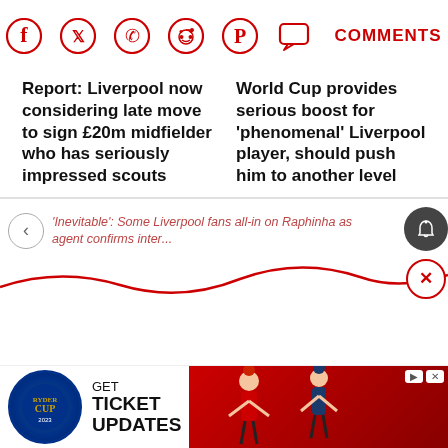[Figure (infographic): Social sharing icons row: Facebook, Twitter, WhatsApp, Reddit, Pinterest, Comments speech bubble, and COMMENTS label in red]
Report: Liverpool now considering late move to sign £20m midfielder who has seriously impressed scouts
World Cup provides serious boost for 'phenomenal' Liverpool player, should push him to another level
'Inevitable': Some Liverpool fans all-in on Raphinha as agent confirms inter...
[Figure (infographic): Red wavy decorative line with close (X) button on right]
[Figure (infographic): Ryder Cup advertisement banner: GET TICKET UPDATES with Ryder Cup logo and golfer photos]